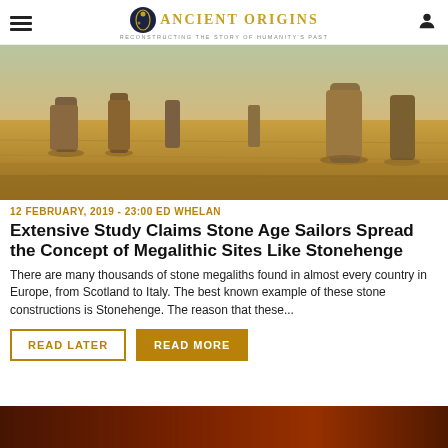Ancient Origins — Reconstructing the story of humanity's past
[Figure (photo): Photograph of standing stones in a dry golden field — a megalithic stone circle site.]
12 FEBRUARY, 2019 - 23:00 ED WHELAN
Extensive Study Claims Stone Age Sailors Spread the Concept of Megalithic Sites Like Stonehenge
There are many thousands of stone megaliths found in almost every country in Europe, from Scotland to Italy. The best known example of these stone constructions is Stonehenge. The reason that these...
READ LATER   READ MORE
[Figure (photo): Partial view of another article image at the bottom of the page, showing a dark reddish-orange scene.]